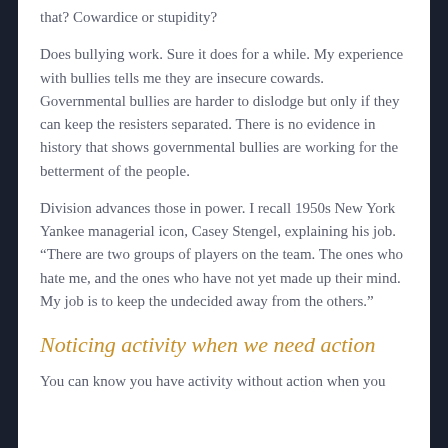that? Cowardice or stupidity?
Does bullying work. Sure it does for a while. My experience with bullies tells me they are insecure cowards. Governmental bullies are harder to dislodge but only if they can keep the resisters separated. There is no evidence in history that shows governmental bullies are working for the betterment of the people.
Division advances those in power. I recall 1950s New York Yankee managerial icon, Casey Stengel, explaining his job. “There are two groups of players on the team. The ones who hate me, and the ones who have not yet made up their mind. My job is to keep the undecided away from the others.”
Noticing activity when we need action
You can know you have activity without action when you